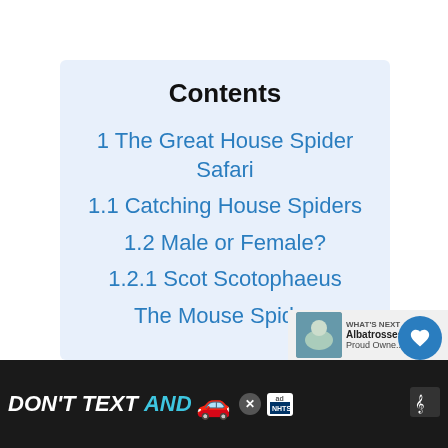Contents
1 The Great House Spider Safari
1.1 Catching House Spiders
1.2 Male or Female?
1.2.1 Scot Scotophaeus
The Mouse Spider
[Figure (other): Website UI overlay showing heart/like button with count 1, share button, and What's Next panel showing Albatrosses]
[Figure (other): Ad banner: DON'T TEXT AND drive ad with car emoji and NHTSA logo on dark background]